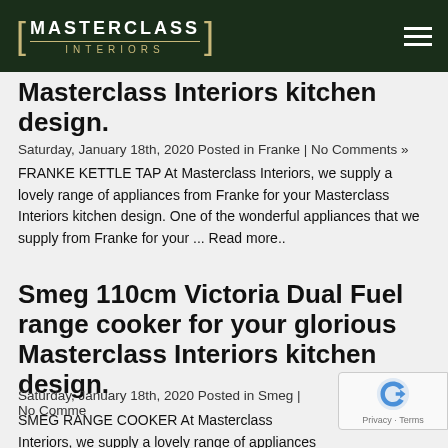MASTERCLASS INTERIORS
Masterclass Interiors kitchen design.
Saturday, January 18th, 2020 Posted in Franke | No Comments »
FRANKE KETTLE TAP At Masterclass Interiors, we supply a lovely range of appliances from Franke for your Masterclass Interiors kitchen design. One of the wonderful appliances that we supply from Franke for your ... Read more..
Smeg 110cm Victoria Dual Fuel range cooker for your glorious Masterclass Interiors kitchen design.
Saturday, January 18th, 2020 Posted in Smeg | No Comme
SMEG RANGE COOKER At Masterclass Interiors, we supply a lovely range of appliances from Smeg for your Masterclass Interiors kitchen design. One of the wonderful appliances that we supply from